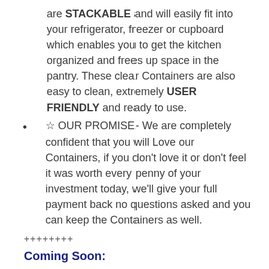are STACKABLE and will easily fit into your refrigerator, freezer or cupboard which enables you to get the kitchen organized and frees up space in the pantry. These clear Containers are also easy to clean, extremely USER FRIENDLY and ready to use.
☆ OUR PROMISE- We are completely confident that you will Love our Containers, if you don't love it or don't feel it was worth every penny of your investment today, we'll give your full payment back no questions asked and you can keep the Containers as well.
+++++++
Coming Soon: